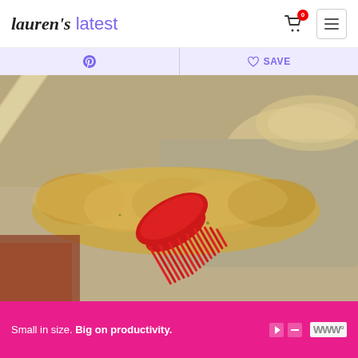Lauren's latest
[Figure (photo): Close-up photo of a red silicone pastry brush brushing a golden egg wash on braided dough on a baking sheet]
Small in size. Big on productivity.